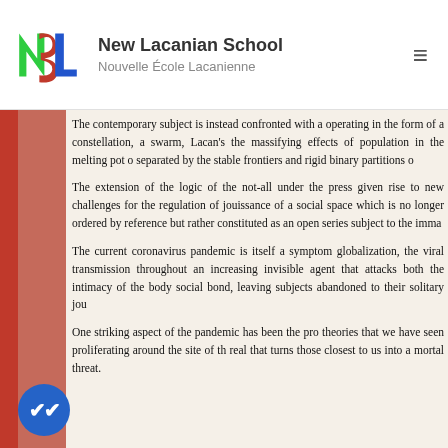New Lacanian School | Nouvelle École Lacanienne
The contemporary subject is instead confronted with a operating in the form of a constellation, a swarm, Lacan's the massifying effects of population in the melting pot separated by the stable frontiers and rigid binary partitions o
The extension of the logic of the not-all under the press given rise to new challenges for the regulation of jouissance of a social space which is no longer ordered by reference but rather constituted as an open series subject to the imma
The current coronavirus pandemic is itself a symptom globalization, the viral transmission throughout an increasing invisible agent that attacks both the intimacy of the body social bond, leaving subjects abandoned to their solitary jou
One striking aspect of the pandemic has been the pro theories that we have seen proliferating around the site of th real that turns those closest to us into a mortal threat.